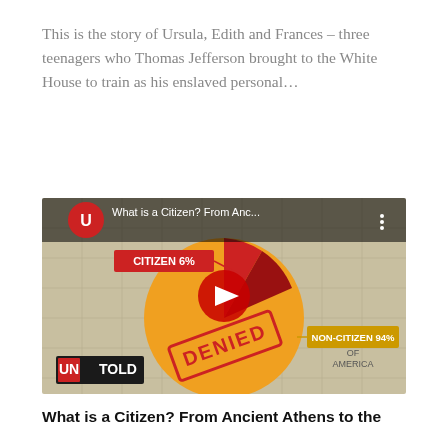This is the story of Ursula, Edith and Frances – three teenagers who Thomas Jefferson brought to the White House to train as his enslaved personal...
[Figure (screenshot): YouTube video thumbnail for 'What is a Citizen? From Anc...' showing an UNTOLD channel video with a pie chart showing CITIZEN 6% and NON-CITIZEN 94% with a DENIED stamp overlay on a historical map background. Features YouTube play button in center.]
What is a Citizen? From Ancient Athens to the